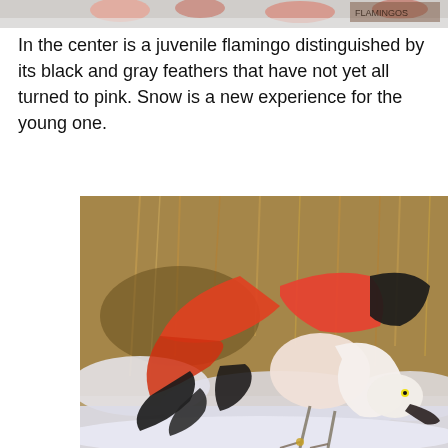[Figure (photo): Partial top strip showing a group of flamingos in snow, cropped at top of page]
In the center is a juvenile flamingo distinguished by its black and gray feathers that have not yet all turned to pink. Snow is a new experience for the young one.
[Figure (photo): A flamingo with wings spread open showing vivid orange-red and black feathers, with a white/pale pink neck and body, standing in snow with dry brown reeds/brush in the background]